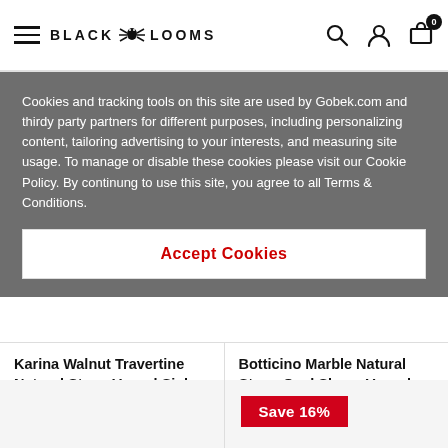BLACK LOOMS — navigation header with hamburger menu, logo, search, account, and cart icons
Cookies and tracking tools on this site are used by Gobek.com and thirdy party partners for different purposes, including personalizing content, tailoring advertising to your interests, and measuring site usage. To manage or disable these cookies please visit our Cookie Policy. By continung to use this site, you agree to all Terms & Conditions.
Accept Cookies
Karina Walnut Travertine Natural Stone Vessel Sink Honed and Filled (W)16" (L)20.5" (H)6"
$482.80
Botticino Marble Natural Stone Oval Shape Vessel Sink Honed (L)20.5" (H)6"
$558.00
Save 16%